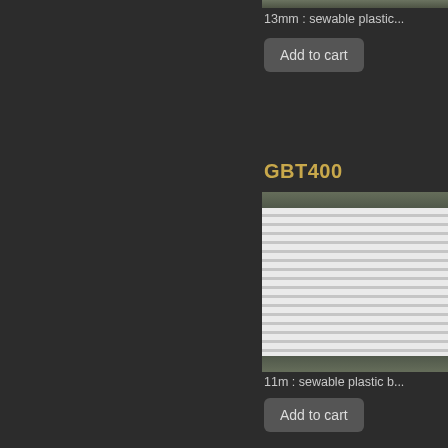[Figure (photo): Top strip of a product image (sewable plastic boning) with dark olive/green textured background, partially visible at top]
13mm : sewable plastic...
[Figure (other): Add to cart button for 13mm sewable plastic product]
GBT400
[Figure (photo): Product photo of GBT400 sewable plastic boning — white ribbed/ridged strips on olive green textured background]
11m : sewable plastic b...
[Figure (other): Add to cart button for GBT400 11m sewable plastic product]
GBT300
[Figure (photo): Partial product photo of GBT300 sewable plastic boning — olive background with white ribbed strips partially visible]